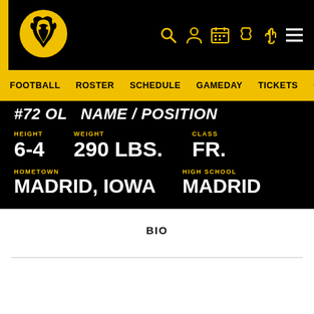Iowa Hawkeyes Athletics Header
FOOTBALL  ROSTER  SCHEDULE  GAMEDAY  TICKETS  C|
#72 OL  Name/Position
HEIGHT: 6-4  WEIGHT: 290 LBS.  CLASS: FR.
HOMETOWN: MADRID, IOWA  HIGH SCHOOL: MADRID
BIO